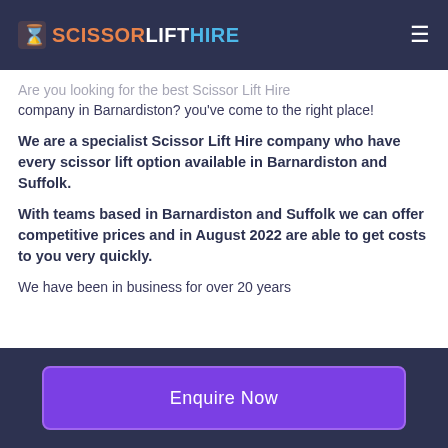SCISSORLIFTHIRE
Are you looking for the best Scissor Lift Hire company in Barnardiston? you've come to the right place!
We are a specialist Scissor Lift Hire company who have every scissor lift option available in Barnardiston and Suffolk.
With teams based in Barnardiston and Suffolk we can offer competitive prices and in August 2022 are able to get costs to you very quickly.
We have been in business for over 20 years
Enquire Now